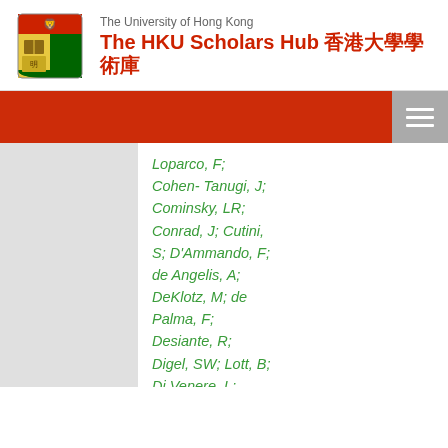The University of Hong Kong — The HKU Scholars Hub 香港大學學術庫
Loparco, F; Cohen- Tanugi, J; Cominsky, LR; Conrad, J; Cutini, S; D'Ammando, F; de Angelis, A; DeKlotz, M; de Palma, F; Desiante, R; Digel, SW; Lott, B; Di Venere, L; Drell, PS; Dubois, R; Dumora, D; Favuzzi, C; Fegan, SJ; Ferrara, EC; Finke, J;